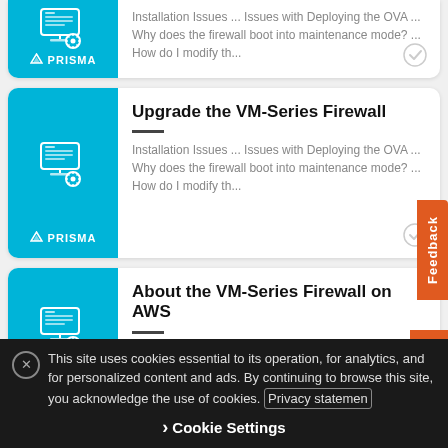[Figure (screenshot): Partial card with Prisma logo icon and truncated text: Installation Issues ... Issues with Deploying the OVA ... Why does the firewall boot into maintenance mode? ... How do I modify th...]
[Figure (screenshot): Card titled 'Upgrade the VM-Series Firewall' with Prisma logo, icon of monitor with gear, and description: Installation Issues ... Issues with Deploying the OVA ... Why does the firewall boot into maintenance mode? ... How do I modify th...]
[Figure (screenshot): Card titled 'About the VM-Series Firewall on AWS' with Prisma logo, icon of monitor with gear, and description: Installation Issues ... Issues with Deploying the OVA ... Why does the firewall boot into]
This site uses cookies essential to its operation, for analytics, and for personalized content and ads. By continuing to browse this site, you acknowledge the use of cookies. Privacy statement
Cookie Settings